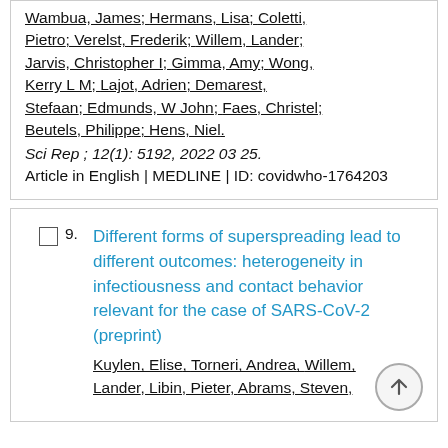Wambua, James; Hermans, Lisa; Coletti, Pietro; Verelst, Frederik; Willem, Lander; Jarvis, Christopher I; Gimma, Amy; Wong, Kerry L M; Lajot, Adrien; Demarest, Stefaan; Edmunds, W John; Faes, Christel; Beutels, Philippe; Hens, Niel.
Sci Rep ; 12(1): 5192, 2022 03 25.
Article in English | MEDLINE | ID: covidwho-1764203
9. Different forms of superspreading lead to different outcomes: heterogeneity in infectiousness and contact behavior relevant for the case of SARS-CoV-2 (preprint)
Kuylen, Elise, Torneri, Andrea, Willem, Lander, Libin, Pieter, Abrams, Steven,